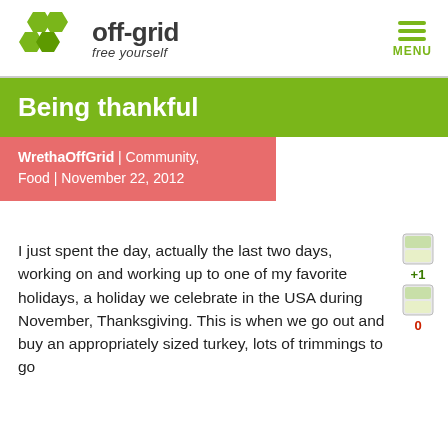off-grid free yourself | MENU
Being thankful
WrethaOffGrid | Community, Food | November 22, 2012
[Figure (other): Social sharing buttons: Google +1 button showing +1, and a sharing icon showing 0]
I just spent the day, actually the last two days, working on and working up to one of my favorite holidays, a holiday we celebrate in the USA during November, Thanksgiving. This is when we go out and buy an appropriately sized turkey, lots of trimmings to go